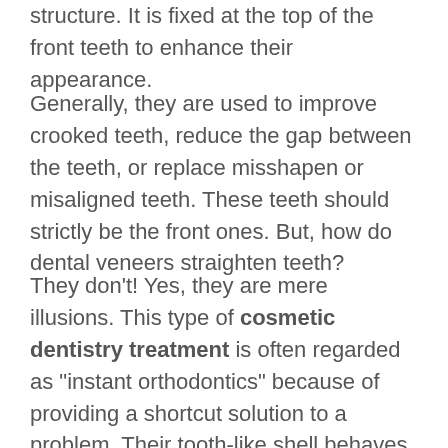structure. It is fixed at the top of the front teeth to enhance their appearance.
Generally, they are used to improve crooked teeth, reduce the gap between the teeth, or replace misshapen or misaligned teeth. These teeth should strictly be the front ones. But, how do dental veneers straighten teeth?
They don't! Yes, they are mere illusions. This type of cosmetic dentistry treatment is often regarded as "instant orthodontics" because of providing a shortcut solution to a problem. Their tooth-like shell behaves like a straight, bright, and shiny tooth, hiding the actual